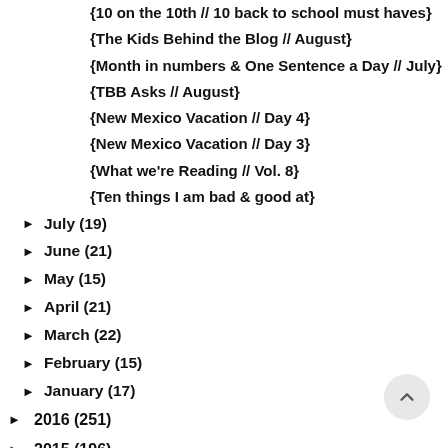{10 on the 10th // 10 back to school must haves}
{The Kids Behind the Blog // August}
{Month in numbers & One Sentence a Day // July}
{TBB Asks // August}
{New Mexico Vacation // Day 4}
{New Mexico Vacation // Day 3}
{What we're Reading // Vol. 8}
{Ten things I am bad & good at}
► July (19)
► June (21)
► May (15)
► April (21)
► March (22)
► February (15)
► January (17)
► 2016 (251)
► 2015 (196)
► 2014 (191)
► 2013 (217)